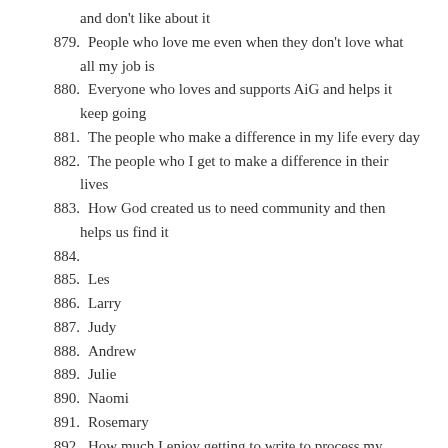and don't like about it
879. People who love me even when they don't love what all my job is
880. Everyone who loves and supports AiG and helps it keep going
881. The people who make a difference in my life every day
882. The people who I get to make a difference in their lives
883. How God created us to need community and then helps us find it
884.
885. Les
886. Larry
887. Judy
888. Andrew
889. Julie
890. Naomi
891. Rosemary
892. How much I enjoy getting to write to process my